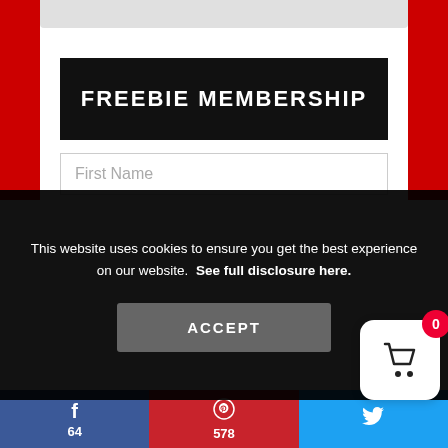FREEBIE MEMBERSHIP
First Name
This website uses cookies to ensure you get the best experience on our website.  See full disclosure here.
ACCEPT
[Figure (screenshot): Shopping cart widget with badge showing 0]
f 64
578
Twitter share button